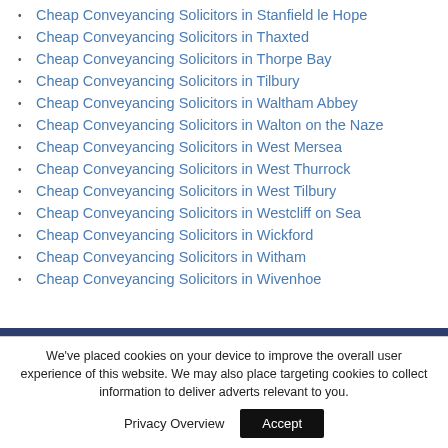Cheap Conveyancing Solicitors in Stanfield le Hope
Cheap Conveyancing Solicitors in Thaxted
Cheap Conveyancing Solicitors in Thorpe Bay
Cheap Conveyancing Solicitors in Tilbury
Cheap Conveyancing Solicitors in Waltham Abbey
Cheap Conveyancing Solicitors in Walton on the Naze
Cheap Conveyancing Solicitors in West Mersea
Cheap Conveyancing Solicitors in West Thurrock
Cheap Conveyancing Solicitors in West Tilbury
Cheap Conveyancing Solicitors in Westcliff on Sea
Cheap Conveyancing Solicitors in Wickford
Cheap Conveyancing Solicitors in Witham
Cheap Conveyancing Solicitors in Wivenhoe
[Figure (logo): Round logo with mountain/house graphic on dark blue footer background]
We've placed cookies on your device to improve the overall user experience of this website. We may also place targeting cookies to collect information to deliver adverts relevant to you.
Privacy Overview  Accept